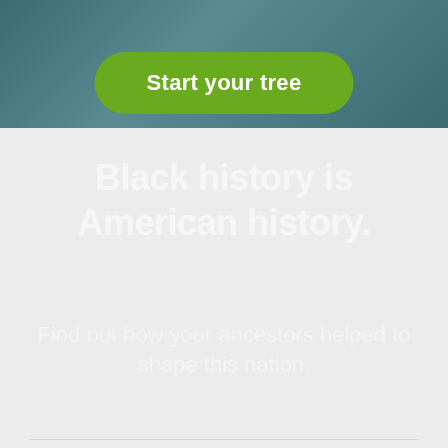[Figure (screenshot): Top banner section with teal/blue-green textured background]
Start your tree
Black history is American history.
Find out how your ancestors helped to shape this nation.